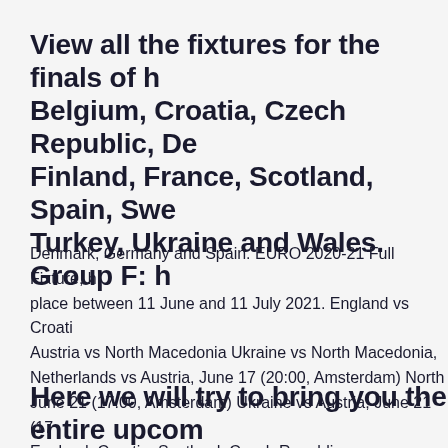View all the fixtures for the finals of Belgium, Croatia, Czech Republic, De Finland, France, Scotland, Spain, Swe Turkey, Ukraine and Wales. Group F: h
Denmark, Germany and Spain. EURO 2020-21 Full Fixture, place between 11 June and 11 July 2021. England vs Croati Austria vs North Macedonia Ukraine vs North Macedonia, Netherlands vs Austria, June 17 (20:00, Amsterdam) North June 21 (17:00, Amsterdam) Ukraine vs Austria, June 21 (17 England, Croatia, Scotland, Czech Republic .
Here we will try to bring you the entire upcom tournament in PES 2021 COM vs COM. The to